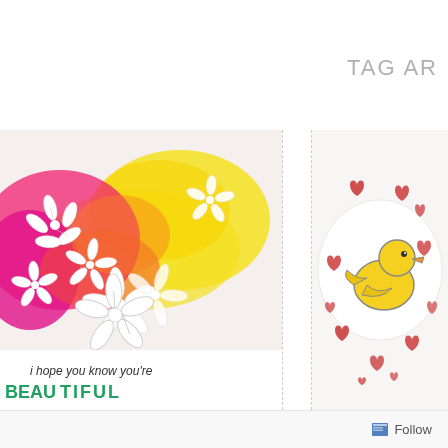TAG AR
[Figure (photo): Close-up of a handmade greeting card with colorful floral stencil design in pink and yellow, white die-cut flowers, and text reading 'i hope you know you're' with teal/green letters below]
[Figure (photo): Close-up of a handmade card with a yellow rubber duck illustration surrounded by red heart shapes on white background]
Follow